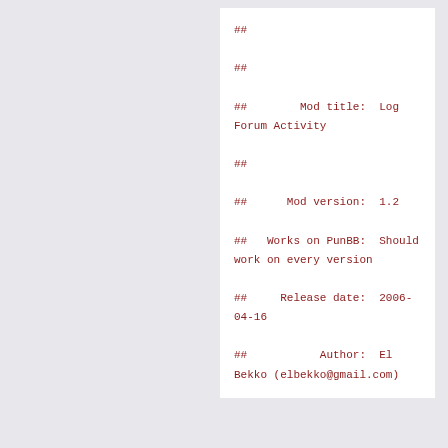##
##
##        Mod title:  Log Forum Activity
##
##      Mod version:  1.2
##   Works on PunBB:  Should work on every version
##     Release date:  2006-04-16
##           Author:  El Bekko (elbekko@gmail.com)
##
##      Description:  Allows you to log all visiting users
##                    to a text file. To spare your server,
##                    it logs only every 10 seconds.
##